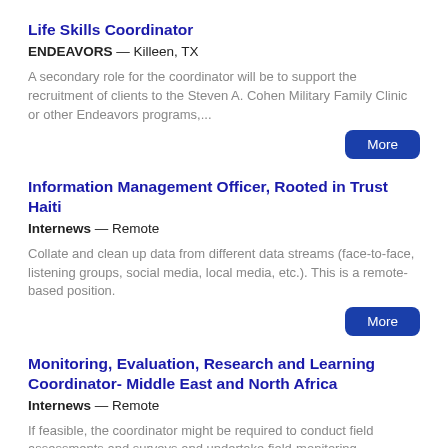Life Skills Coordinator
ENDEAVORS — Killeen, TX
A secondary role for the coordinator will be to support the recruitment of clients to the Steven A. Cohen Military Family Clinic or other Endeavors programs,...
Information Management Officer, Rooted in Trust Haiti
Internews — Remote
Collate and clean up data from different data streams (face-to-face, listening groups, social media, local media, etc.). This is a remote-based position.
Monitoring, Evaluation, Research and Learning Coordinator- Middle East and North Africa
Internews — Remote
If feasible, the coordinator might be required to conduct field assessments and surveys and undertake field-monitoring